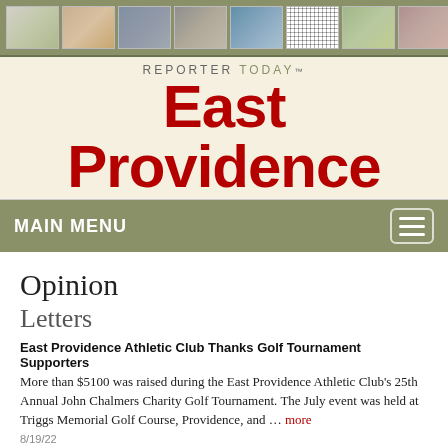[Figure (illustration): Header strip with 8 thumbnail photos/images including a building, two people talking, a man, close-up image, outdoor scene, QR code, group of people, and crowd]
REPORTER TODAY™ East Providence
MAIN MENU
Opinion
Letters
East Providence Athletic Club Thanks Golf Tournament Supporters
More than $5100 was raised during the East Providence Athletic Club's 25th Annual John Chalmers Charity Golf Tournament. The July event was held at Triggs Memorial Golf Course, Providence, and … more
8/19/22
Old Farmhouse